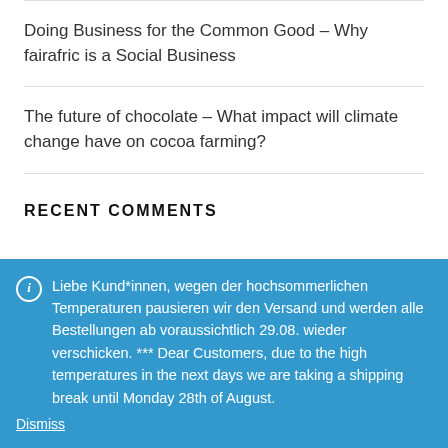Doing Business for the Common Good – Why fairafric is a Social Business
The future of chocolate – What impact will climate change have on cocoa farming?
RECENT COMMENTS
[Figure (photo): Partial view of cocoa or tropical fruit plant with green and orange colors]
ℹ Liebe Kund*innen, wegen der hochsommerlichen Temperaturen pausieren wir den Versand und werden alle Bestellungen ab voraussichtlich 29.08. wieder verschicken. *** Dear Customers, due to the high temperatures in the next days we are taking a shipping break until Monday 28th of August.
Dismiss